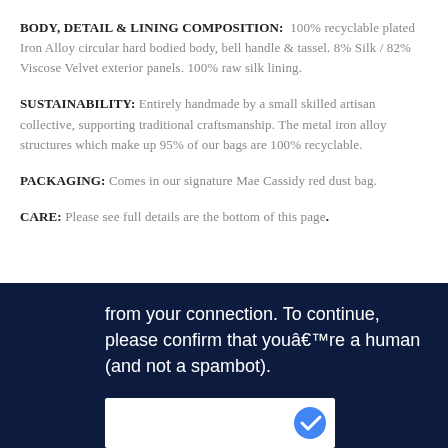BODY, DETAIL & LINING COMPOSITION: 100% recyclable plated Iron Alloy circular hard bodied body, bell handle & tassel. 8% Silk / 82% Viscose Velvet exterior panels. 100% raw silk lining.
SUSTAINABILITY: Entirely handmade by a small skilled artisan collective, supporting traditional craftsmanship. The metal iron alloy structures which make up 95% of our bags are 100% recyclable.
PACKAGING: Comes in our signature Mae Cassidy red dust bag.
CARE: Please see full details are the bottom of this page.
[Figure (screenshot): Dark navy blue CAPTCHA verification overlay with white text reading 'from your connection. To continue, please confirm that youâ€™re a human (and not a spambot).' and a white reCAPTCHA box at the bottom.]